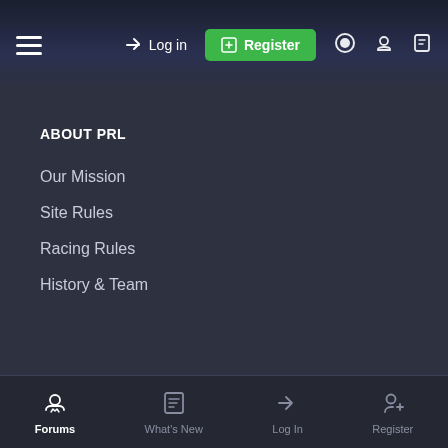≡  Log in  Register
ABOUT PRL
Our Mission
Site Rules
Racing Rules
History & Team
eSPORTS TEAM
Drivers
Results
Forums  What's New  Log In  Register